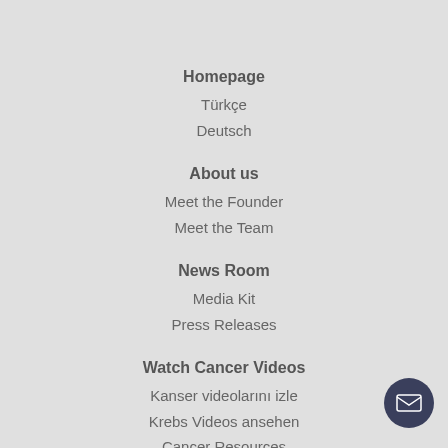Homepage
Türkçe
Deutsch
About us
Meet the Founder
Meet the Team
News Room
Media Kit
Press Releases
Watch Cancer Videos
Kanser videolarını izle
Krebs Videos ansehen
Cancer Resources
CERI Youth Program
Events